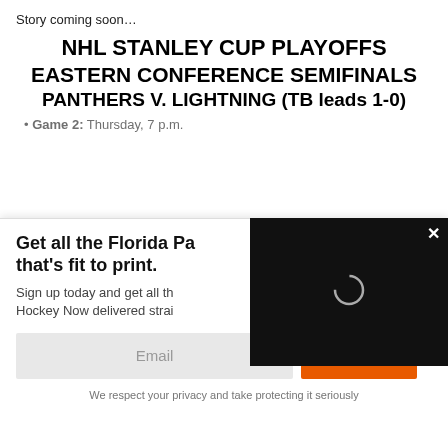Story coming soon…
NHL STANLEY CUP PLAYOFFS
EASTERN CONFERENCE SEMIFINALS
PANTHERS V. LIGHTNING (TB leads 1-0)
Game 2: Thursday, 7 p.m.
Get all the Florida Pa
that's fit to print.
Sign up today and get all th
Hockey Now delivered strai
Email
SIGN UP!
We respect your privacy and take protecting it seriously
Panthers sale  Florida favorite: money line (-160); Puck line (-1.5, +155); Over/Under 6.5
No thanks, I don't want